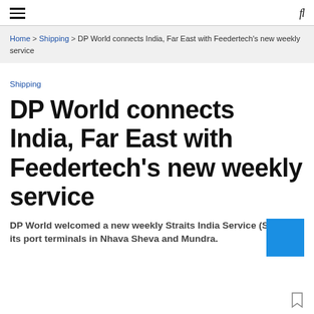≡  fl
Home > Shipping > DP World connects India, Far East with Feedertech's new weekly service
Shipping
DP World connects India, Far East with Feedertech's new weekly service
DP World welcomed a new weekly Straits India Service (SIS) at its port terminals in Nhava Sheva and Mundra.